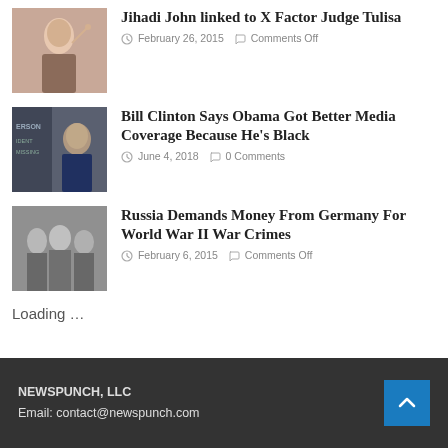[Figure (photo): Thumbnail photo of a woman in leopard print top pointing upward]
Jihadi John linked to X Factor Judge Tulisa
February 26, 2015   Comments Off
[Figure (photo): Thumbnail photo of Bill Clinton in front of a sign]
Bill Clinton Says Obama Got Better Media Coverage Because He’s Black
June 4, 2018   0 Comments
[Figure (photo): Black and white thumbnail photo of soldiers]
Russia Demands Money From Germany For World War II War Crimes
February 6, 2015   Comments Off
Loading …
NEWSPUNCH, LLC
Email: contact@newspunch.com